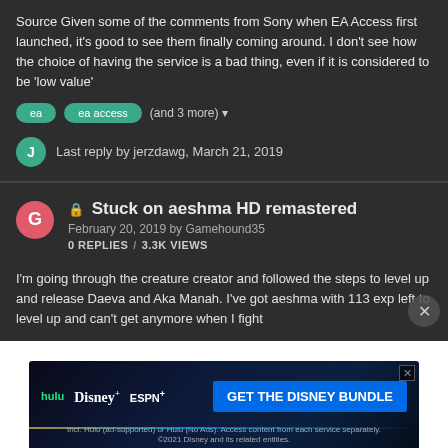Source Given some of the comments from Sony when EA Access first launched, it's good to see them finally coming around. I don't see how the choice of having the service is a bad thing, even if it is considered to be 'low value'
ea
ea access
(and 3 more)
Last reply by jerzdawg, March 21, 2019
Stuck on aeshma HD remastered
February 20, 2019 by Gamehound35
0 REPLIES / 3.3K VIEWS
I'm going through the creature creator and followed the steps to level up and release Daeva and Aka Manah. I've got aeshma with 113 exp left to level up and can't get anymore when I fight
[Figure (screenshot): Advertisement banner for Disney Bundle featuring Hulu, Disney+, and ESPN+ logos with a GET THE DISNEY BUNDLE call-to-action button. Fine print reads: Incl. Hulu (ad-supported) or Hulu (No Ads). Access content from each service separately. ©2021 Disney and its related entities.]